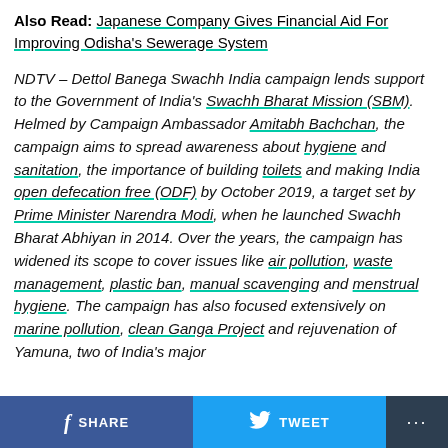Also Read: Japanese Company Gives Financial Aid For Improving Odisha's Sewerage System
NDTV – Dettol Banega Swachh India campaign lends support to the Government of India's Swachh Bharat Mission (SBM). Helmed by Campaign Ambassador Amitabh Bachchan, the campaign aims to spread awareness about hygiene and sanitation, the importance of building toilets and making India open defecation free (ODF) by October 2019, a target set by Prime Minister Narendra Modi, when he launched Swachh Bharat Abhiyan in 2014. Over the years, the campaign has widened its scope to cover issues like air pollution, waste management, plastic ban, manual scavenging and menstrual hygiene. The campaign has also focused extensively on marine pollution, clean Ganga Project and rejuvenation of Yamuna, two of India's major
SHARE  TWEET  ...